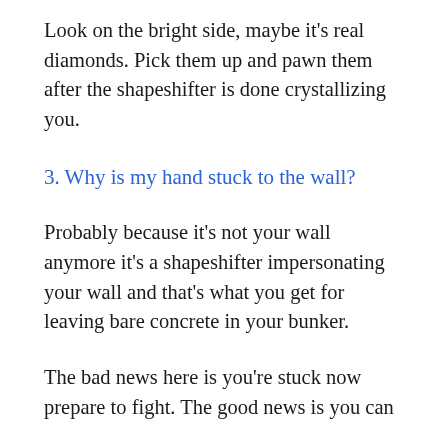Look on the bright side, maybe it's real diamonds. Pick them up and pawn them after the shapeshifter is done crystallizing you.
3. Why is my hand stuck to the wall?
Probably because it's not your wall anymore it's a shapeshifter impersonating your wall and that's what you get for leaving bare concrete in your bunker.
The bad news here is you're stuck now prepare to fight. The good news is you can